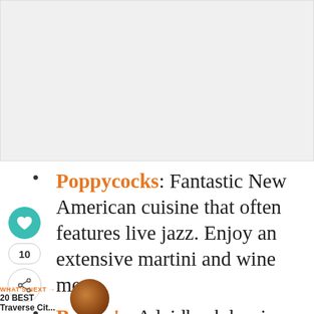[Figure (photo): Large image placeholder at top of page, light gray background]
Poppycocks: Fantastic New American cuisine that often features live jazz. Enjoy an extensive martini and wine menu.
Bubba's: A laidback bar is known serving up some excellent food in a family-friendly environment.
[Figure (photo): Small circular thumbnail image of food for 'WHAT'S NEXT' section]
WHAT'S NEXT → 20 BEST Traverse Cit...